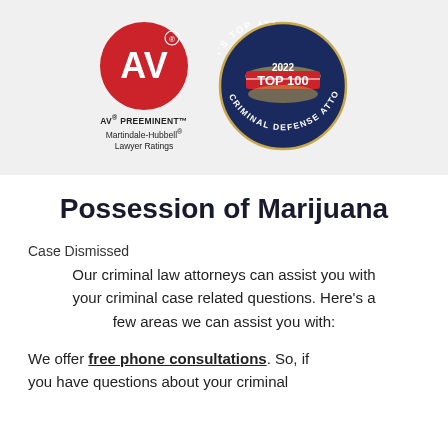[Figure (logo): AV Preeminent logo - red circle with white AV letters, Martindale-Hubbell Lawyer Ratings text below]
[Figure (logo): America's Top 100 Criminal Defense Attorneys 2022 Top 100 badge - circular dark blue seal with eagle]
Possession of Marijuana
Case Dismissed
Our criminal law attorneys can assist you with your criminal case related questions. Here's a few areas we can assist you with:
We offer free phone consultations. So, if you have questions about your criminal